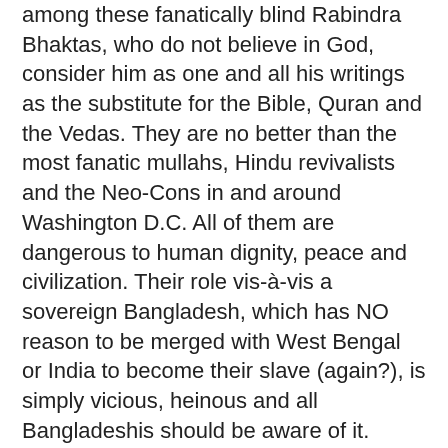among these fanatically blind Rabindra Bhaktas, who do not believe in God, consider him as one and all his writings as the substitute for the Bible, Quran and the Vedas. They are no better than the most fanatic mullahs, Hindu revivalists and the Neo-Cons in and around Washington D.C. All of them are dangerous to human dignity, peace and civilization. Their role vis-à-vis a sovereign Bangladesh, which has NO reason to be merged with West Bengal or India to become their slave (again?), is simply vicious, heinous and all Bangladeshis should be aware of it.
India has already captured our market. Do these India-Bhakta Tagorites want physical merger with India? I would not be surprised if this is in their hidden or not-so-hidden transcript!
I do not dispute the fact that Tagore was a good poet, much better than most of his contemporaries in undivided Bengal. But please give me a break; one